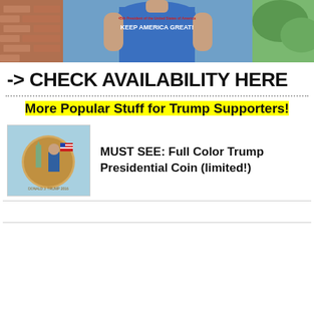[Figure (photo): Man wearing a blue 'Keep America Great' t-shirt standing in front of a brick wall]
-> CHECK AVAILABILITY HERE
More Popular Stuff for Trump Supporters!
[Figure (photo): Full Color Trump Presidential Coin held in a hand]
MUST SEE: Full Color Trump Presidential Coin (limited!)